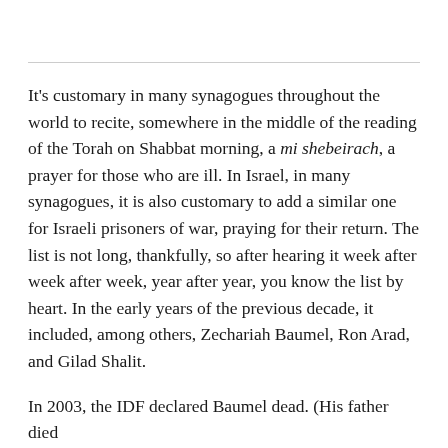It's customary in many synagogues throughout the world to recite, somewhere in the middle of the reading of the Torah on Shabbat morning, a mi shebeirach, a prayer for those who are ill. In Israel, in many synagogues, it is also customary to add a similar one for Israeli prisoners of war, praying for their return. The list is not long, thankfully, so after hearing it week after week after week, year after year, you know the list by heart. In the early years of the previous decade, it included, among others, Zechariah Baumel, Ron Arad, and Gilad Shalit.
In 2003, the IDF declared Baumel dead. (His father died